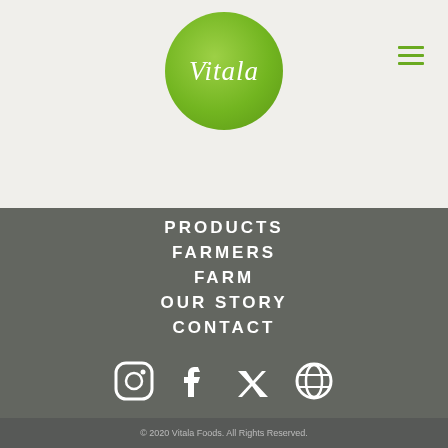[Figure (logo): Vitala Foods logo: white italic 'Vitala' text on a green circle]
PRODUCTS
FARMERS
FARM
OUR STORY
CONTACT
BLOG
[Figure (illustration): Social media icons: Instagram, Facebook, Twitter, Pinterest in white on dark green-grey background]
© 2020 Vitala Foods. All Rights Reserved.